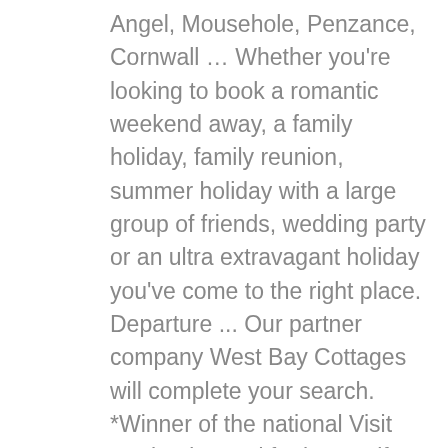Angel, Mousehole, Penzance, Cornwall … Whether you're looking to book a romantic weekend away, a family holiday, family reunion, summer holiday with a large group of friends, wedding party or an ultra extravagant holiday you've come to the right place. Departure ... Our partner company West Bay Cottages will complete your search. *Winner of the national Visit England award for best self catering provider of the year* Three generations of our family have played their part in restoring Treworgey's beautiful period cottages overlooking the Looe River Valley in South East Cornwall. Opt in to receive our email newsletter about our special offers and new houses. Find your Cornwall holiday cottage today. Trevaunance Cove, St Agnes, Cornwall, UK. Our very own LuxeTest® was developed by our team of luxury experts to provide an in-person inspection of every aspect that makes a stay away as pleasurable and stress-free as possible. ... Looe, the luxury property enjoys access to both the local beach and the nearby